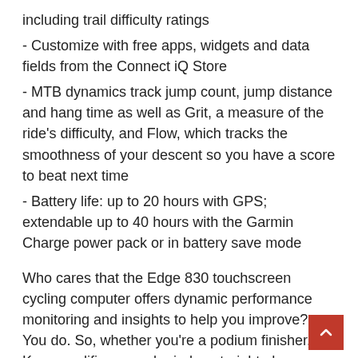including trail difficulty ratings
- Customize with free apps, widgets and data fields from the Connect iQ Store
- MTB dynamics track jump count, jump distance and hang time as well as Grit, a measure of the ride's difficulty, and Flow, which tracks the smoothness of your descent so you have a score to beat next time
- Battery life: up to 20 hours with GPS; extendable up to 40 hours with the Garmin Charge power pack or in battery save mode
Who cares that the Edge 830 touchscreen cycling computer offers dynamic performance monitoring and insights to help you improve? You do. So, whether you're a podium finisher, Kona qualifier, gravel grinder, straight-shaven, urban pedaler, dirt ball or somewhere in between, Edge 830 is ready to roll as your new riding partner.
In The Box